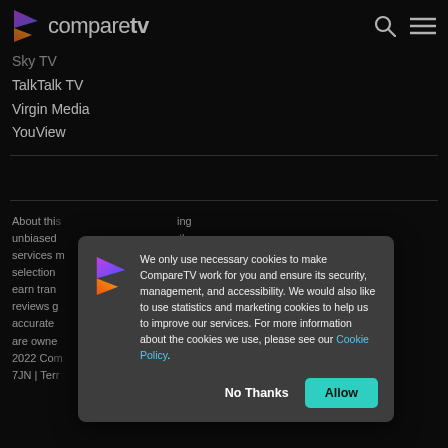compareTV
Sky TV
TalkTalk TV
Virgin Media
YouView
About this site... unbiased... other services... compare a selection... able, and earn trans... als. Our reviews g... on is accurate... ng name are owne... 01).© 2022 Com... EC4M 7JN | Terr...
[Figure (screenshot): Cookie consent modal dialog with CompareTV logo, cookie policy text with a Cookie Policy link, and two buttons: No Thanks and Allow.]